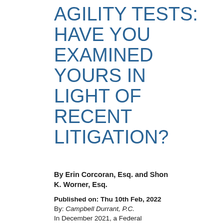AGILITY TESTS: HAVE YOU EXAMINED YOURS IN LIGHT OF RECENT LITIGATION?
By Erin Corcoran, Esq. and Shon K. Worner, Esq.
Published on: Thu 10th Feb, 2022
By: Campbell Durrant, P.C.
In December 2021, a Federal District Court approved a $2.2 million settlement and a...